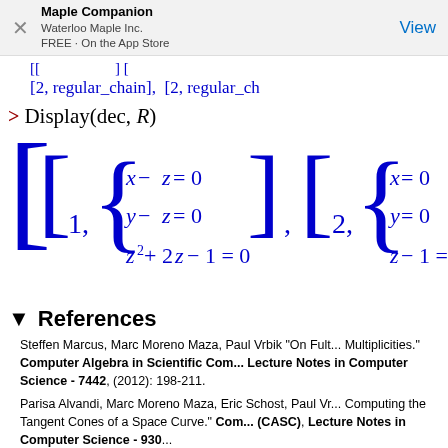Maple Companion | Waterloo Maple Inc. | FREE - On the App Store | View
[2, regular_chain], [2, regular_ch...
References
Steffen Marcus, Marc Moreno Maza, Paul Vrbik "On Fulton Multiplicities." Computer Algebra in Scientific Computing. Lecture Notes in Computer Science - 7442, (2012): 198-211.
Parisa Alvandi, Marc Moreno Maza, Eric Schost, Paul Vr... Computing the Tangent Cones of a Space Curve." Computer Algebra in Scientific Computing (CASC), Lecture Notes in Computer Science - 930...